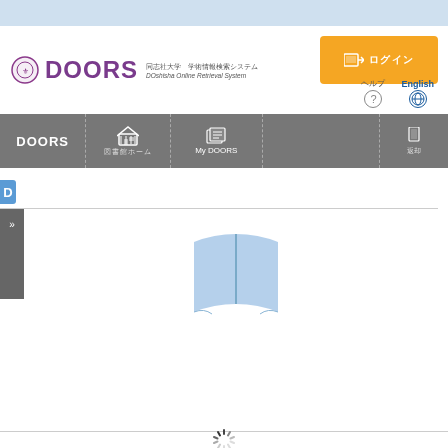ログイン 利用者情報
[Figure (logo): DOORS DOshisha Online Retrieval System logo with university crest]
DOORS ログイン
ヘルプ
English
[Figure (screenshot): Navigation bar with DOORS, 図書館ホーム, My DOORS, 返却 menu items]
[Figure (illustration): Open book icon in light blue, centered in content area]
[Figure (other): Loading spinner at bottom of page]